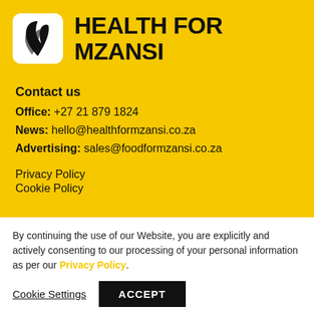[Figure (logo): Health for Mzansi logo: white rounded square with black feather/leaf icon, next to bold black text HEALTH FOR MZANSI on yellow background]
HEALTH FOR MZANSI
Contact us
Office: +27 21 879 1824
News: hello@healthformzansi.co.za
Advertising: sales@foodformzansi.co.za
Privacy Policy
Cookie Policy
By continuing the use of our Website, you are explicitly and actively consenting to our processing of your personal information as per our Privacy Policy.
Cookie Settings
ACCEPT